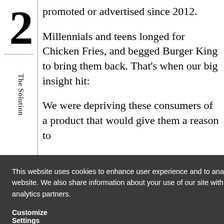2
The Solution
promoted or advertised since 2012.
Millennials and teens longed for Chicken Fries, and begged Burger King to bring them back. That's when our big insight hit:
We were depriving these consumers of a product that would give them a reason to ...a positive ...ad to ...way.
This website uses cookies to enhance user experience and to analyze performance and traffic on our website. We also share information about your use of our site with our social media, advertising and analytics partners.
Customize Settings